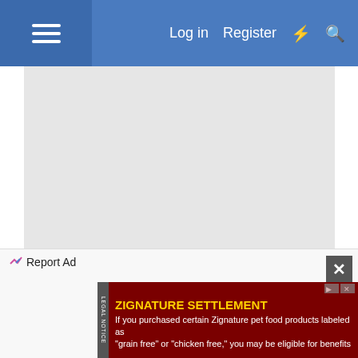Log in  Register
[Figure (screenshot): Advertisement area - large gray rectangle with Report Ad link at bottom]
Report Ad
26 May 2022  #10
sams93
Established Member
Report Ad
[Figure (screenshot): ZIGNATURE SETTLEMENT advertisement banner. Legal notice: If you purchased certain Zignature pet food products labeled as "grain free" or "chicken free," you may be eligible for benefits]